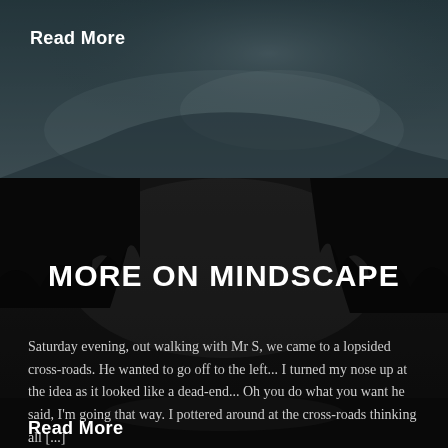[Figure (photo): Dark atmospheric photo of a figure draped in white fabric, muted teal/grey tones]
Read More
[Figure (photo): Dark atmospheric photo of trees against a grey sky, dark moody tones]
MORE ON MINDSCAPE
Saturday evening, out walking with Mr S, we came to a lopsided cross-roads. He wanted to go off to the left... I turned my nose up at the idea as it looked like a dead-end... Oh you do what you want he said, I'm going that way. I pottered around at the cross-roads thinking all [...]
Read More